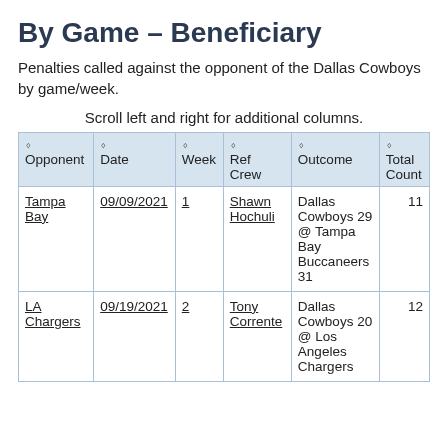By Game – Beneficiary
Penalties called against the opponent of the Dallas Cowboys by game/week.
Scroll left and right for additional columns.
| Opponent | Date | Week | Ref Crew | Outcome | Total Count |
| --- | --- | --- | --- | --- | --- |
| Tampa Bay | 09/09/2021 | 1 | Shawn Hochuli | Dallas Cowboys 29 @ Tampa Bay Buccaneers 31 | 11 |
| LA Chargers | 09/19/2021 | 2 | Tony Corrente | Dallas Cowboys 20 @ Los Angeles Chargers | 12 |